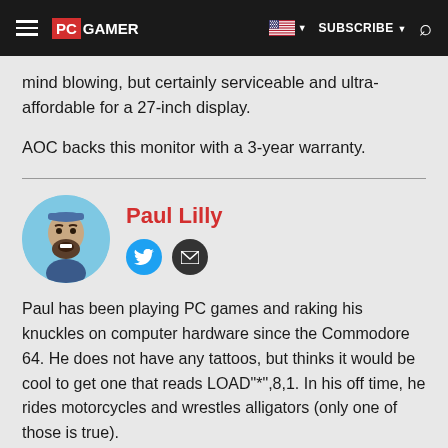PC GAMER — SUBSCRIBE
mind blowing, but certainly serviceable and ultra-affordable for a 27-inch display.
AOC backs this monitor with a 3-year warranty.
Paul Lilly
Paul has been playing PC games and raking his knuckles on computer hardware since the Commodore 64. He does not have any tattoos, but thinks it would be cool to get one that reads LOAD"*",8,1. In his off time, he rides motorcycles and wrestles alligators (only one of those is true).